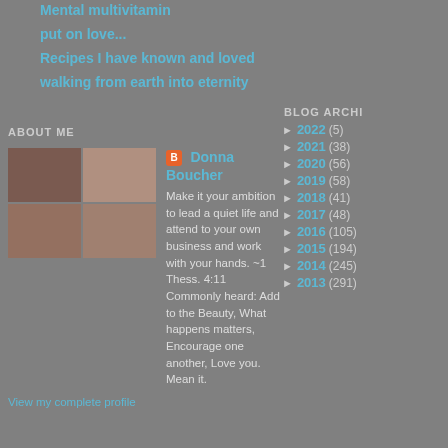Mental multivitamin
put on love...
Recipes I have known and loved
walking from earth into eternity
ABOUT ME
[Figure (photo): Four-panel photo collage showing a woman and baby in various poses]
Donna Boucher
Make it your ambition to lead a quiet life and attend to your own business and work with your hands. ~1 Thess. 4:11 Commonly heard: Add to the Beauty, What happens matters, Encourage one another, Love you. Mean it.
View my complete profile
BLOG ARCHI
2022 (5)
2021 (38)
2020 (56)
2019 (58)
2018 (41)
2017 (48)
2016 (105)
2015 (194)
2014 (245)
2013 (291)